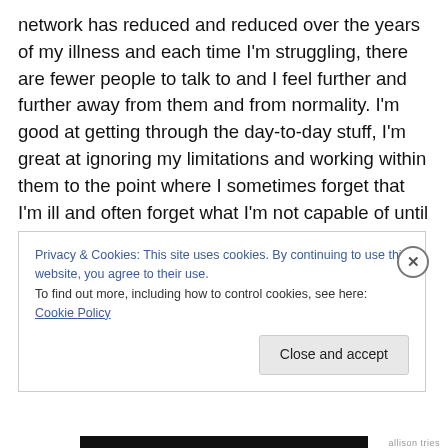network has reduced and reduced over the years of my illness and each time I'm struggling, there are fewer people to talk to and I feel further and further away from them and from normality. I'm good at getting through the day-to-day stuff, I'm great at ignoring my limitations and working within them to the point where I sometimes forget that I'm ill and often forget what I'm not capable of until I'm rudely reminded by circumstance and it all comes flooding back. I don't have people to talk to about how frightened I am, about how much my belief and hope are fading as each month passes. It's not because I don't have people
Privacy & Cookies: This site uses cookies. By continuing to use this website, you agree to their use.
To find out more, including how to control cookies, see here: Cookie Policy
Close and accept